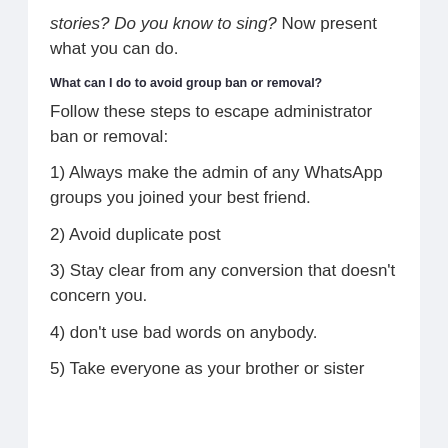stories? Do you know to sing? Now present what you can do.
What can I do to avoid group ban or removal?
Follow these steps to escape administrator ban or removal:
1) Always make the admin of any WhatsApp groups you joined your best friend.
2) Avoid duplicate post
3) Stay clear from any conversion that doesn't concern you.
4) don't use bad words on anybody.
5) Take everyone as your brother or sister